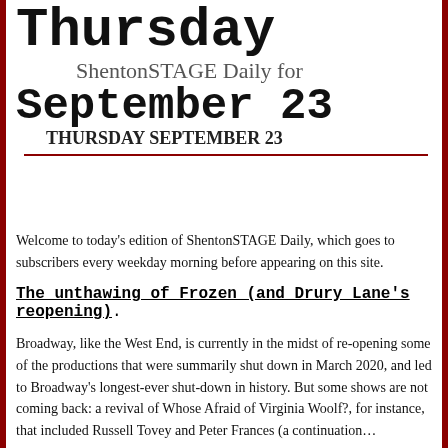Thursday
ShentonSTAGE Daily for
September 23
THURSDAY SEPTEMBER 23
Welcome to today's edition of ShentonSTAGE Daily, which goes to subscribers every weekday morning before appearing on this site.
The unthawing of Frozen (and Drury Lane's reopening).
Broadway, like the West End, is currently in the midst of re-opening some of the productions that were summarily shut down in March 2020, and led to Broadway's longest-ever shut-down in history. But some shows are not coming back: a revival of Whose Afraid of Virginia Woolf?, for instance, that included Russell Tovey and Peter Frances (a continuation...